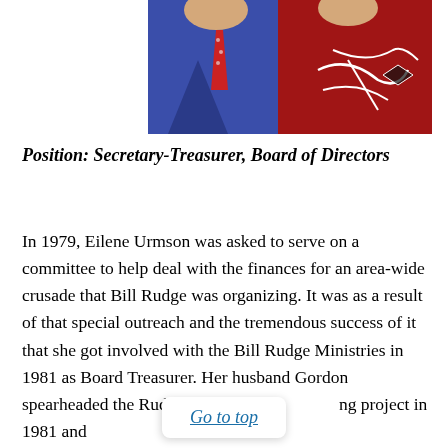[Figure (photo): Two people photographed together, one in a blue jacket with a red tie, the other in a red outfit. The photo is partially cropped showing only the upper body area.]
Position: Secretary-Treasurer, Board of Directors
In 1979, Eilene Urmson was asked to serve on a committee to help deal with the finances for an area-wide crusade that Bill Rudge was organizing. It was as a result of that special outreach and the tremendous success of it that she got involved with the Bill Rudge Ministries in 1981 as Board Treasurer. Her husband Gordon spearheaded the Rudge ministry building project in 1981 and